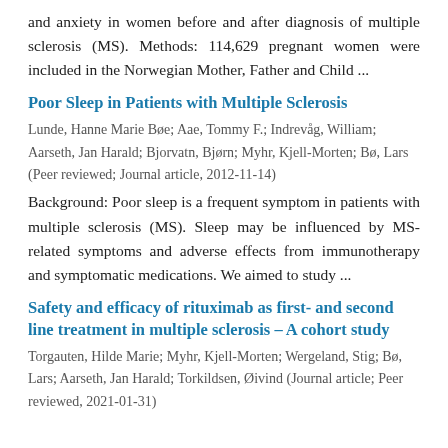and anxiety in women before and after diagnosis of multiple sclerosis (MS). Methods: 114,629 pregnant women were included in the Norwegian Mother, Father and Child ...
Poor Sleep in Patients with Multiple Sclerosis
Lunde, Hanne Marie Bøe; Aae, Tommy F.; Indrevåg, William; Aarseth, Jan Harald; Bjorvatn, Bjørn; Myhr, Kjell-Morten; Bø, Lars (Peer reviewed; Journal article, 2012-11-14)
Background: Poor sleep is a frequent symptom in patients with multiple sclerosis (MS). Sleep may be influenced by MS-related symptoms and adverse effects from immunotherapy and symptomatic medications. We aimed to study ...
Safety and efficacy of rituximab as first- and second line treatment in multiple sclerosis – A cohort study
Torgauten, Hilde Marie; Myhr, Kjell-Morten; Wergeland, Stig; Bø, Lars; Aarseth, Jan Harald; Torkildsen, Øivind (Journal article; Peer reviewed, 2021-01-31)